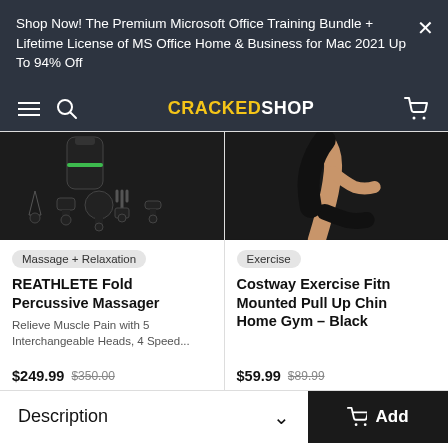Shop Now! The Premium Microsoft Office Training Bundle + Lifetime License of MS Office Home & Business for Mac 2021 Up To 94% Off
[Figure (screenshot): CrackedShop website navigation bar with hamburger menu, search icon, CRACKEDSHOP logo, and cart icon on dark background]
[Figure (photo): REATHLETE Fold Percussive Massager product image showing device and 5 interchangeable heads on dark background]
Massage + Relaxation
REATHLETE Fold Percussive Massager
Relieve Muscle Pain with 5 Interchangeable Heads, 4 Speed...
$249.99  $350.00
[Figure (photo): Costway Exercise Fitness Wall Mounted Pull Up Chin Up Bar for Home Gym - Black, person exercising on dark background]
Exercise
Costway Exercise Fitn... Mounted Pull Up Chin... Home Gym - Black
$59.99  $89.99
Description
Add